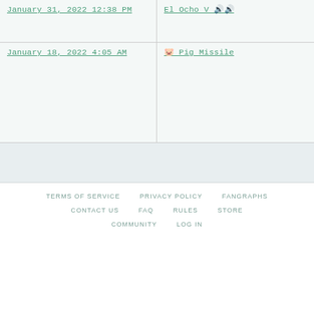| Date | Title |
| --- | --- |
| January 31, 2022 12:38 PM | El Ocho V 🔊🔊 |
| January 18, 2022 4:05 AM | 🐷 Pig Missile |
TERMS OF SERVICE   PRIVACY POLICY   FANGRAPHS   CONTACT US   FAQ   RULES   STORE   COMMUNITY   LOG IN